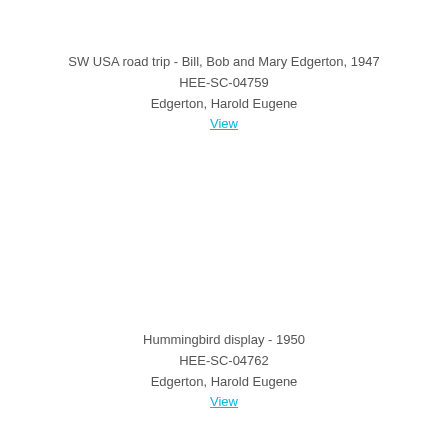SW USA road trip - Bill, Bob and Mary Edgerton, 1947
HEE-SC-04759
Edgerton, Harold Eugene
View
Hummingbird display - 1950
HEE-SC-04762
Edgerton, Harold Eugene
View